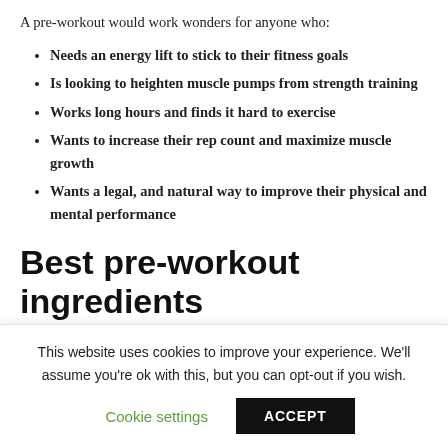A pre-workout would work wonders for anyone who:
Needs an energy lift to stick to their fitness goals
Is looking to heighten muscle pumps from strength training
Works long hours and finds it hard to exercise
Wants to increase their rep count and maximize muscle growth
Wants a legal, and natural way to improve their physical and mental performance
Best pre-workout ingredients
These are some of the best and rigorously researched ingredients to look out for in a pre-workout...
This website uses cookies to improve your experience. We'll assume you're ok with this, but you can opt-out if you wish.